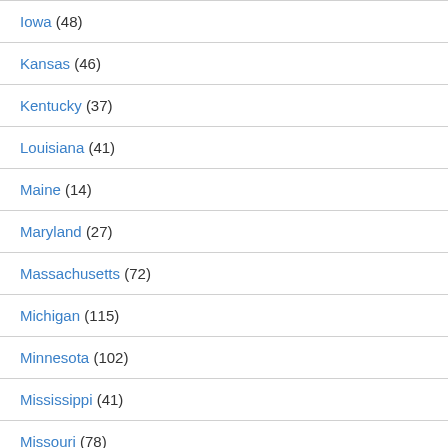Iowa (48)
Kansas (46)
Kentucky (37)
Louisiana (41)
Maine (14)
Maryland (27)
Massachusetts (72)
Michigan (115)
Minnesota (102)
Mississippi (41)
Missouri (78)